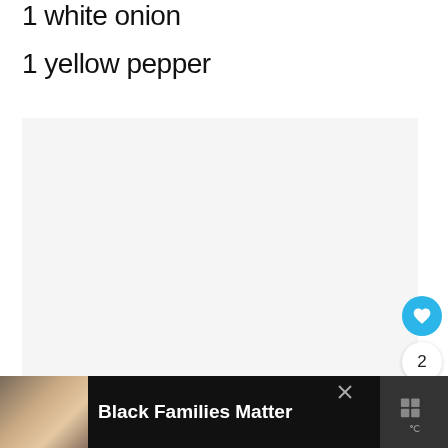1 white onion
1 yellow pepper
[Figure (other): Light grey placeholder content area with three grey dots at the bottom center, part of a recipe webpage with a loading/ad area.]
[Figure (other): Advertisement banner at bottom: black background, family photo on left, bold white text 'Black Families Matter', close X button, and a dark icon on the right.]